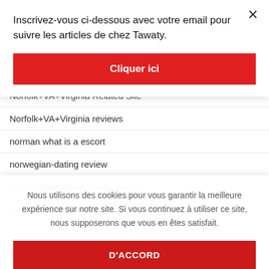Inscrivez-vous ci-dessous avec votre email pour suivre les articles de chez Tawaty.
Cliquer ici
Norfolk+VA+Virginia Related Site
Norfolk+VA+Virginia reviews
norman what is a escort
norwegian-dating review
NoStringsAttached Premium-APK
Nous utilisons des cookies pour vous garantir la meilleure expérience sur notre site. Si vous continuez à utiliser ce site, nous supposerons que vous en êtes satisfait.
D'ACCORD
Nudist Dating hookup